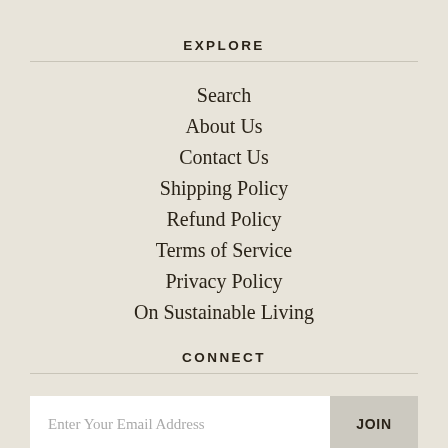EXPLORE
Search
About Us
Contact Us
Shipping Policy
Refund Policy
Terms of Service
Privacy Policy
On Sustainable Living
CONNECT
Enter Your Email Address  JOIN